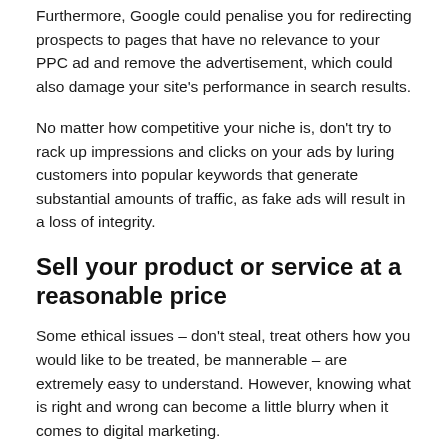Furthermore, Google could penalise you for redirecting prospects to pages that have no relevance to your PPC ad and remove the advertisement, which could also damage your site's performance in search results.
No matter how competitive your niche is, don't try to rack up impressions and clicks on your ads by luring customers into popular keywords that generate substantial amounts of traffic, as fake ads will result in a loss of integrity.
Sell your product or service at a reasonable price
Some ethical issues – don't steal, treat others how you would like to be treated, be mannerable – are extremely easy to understand. However, knowing what is right and wrong can become a little blurry when it comes to digital marketing.